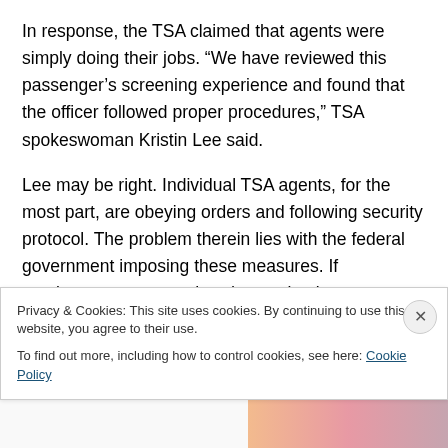In response, the TSA claimed that agents were simply doing their jobs. “We have reviewed this passenger’s screening experience and found that the officer followed proper procedures,” TSA spokeswoman Kristin Lee said.
Lee may be right. Individual TSA agents, for the most part, are obeying orders and following security protocol. The problem therein lies with the federal government imposing these measures. If employees accept such orders as business as usual, then the burden of defending personal rights and the Fourth Amendment of the U.S. Constitution
Privacy & Cookies: This site uses cookies. By continuing to use this website, you agree to their use.
To find out more, including how to control cookies, see here: Cookie Policy